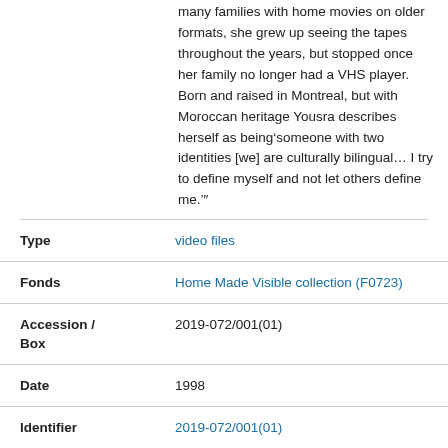many families with home movies on older formats, she grew up seeing the tapes throughout the years, but stopped once her family no longer had a VHS player. Born and raised in Montreal, but with Moroccan heritage Yousra describes herself as being 'someone with two identities [we] are culturally bilingual… I try to define myself and not let others define me.'"
| Field | Value |
| --- | --- |
| Type | video files |
| Fonds | Home Made Visible collection (F0723) |
| Accession / Box | 2019-072/001(01) |
| Date | 1998 |
| Identifier | 2019-072/001(01) |